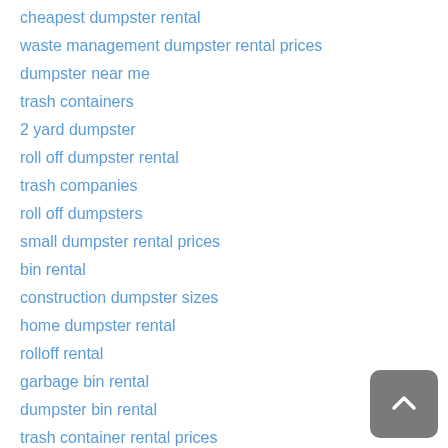cheapest dumpster rental
waste management dumpster rental prices
dumpster near me
trash containers
2 yard dumpster
roll off dumpster rental
trash companies
roll off dumpsters
small dumpster rental prices
bin rental
construction dumpster sizes
home dumpster rental
rolloff rental
garbage bin rental
dumpster bin rental
trash container rental prices
trash container rental
garbage dumpsters
dumpsters